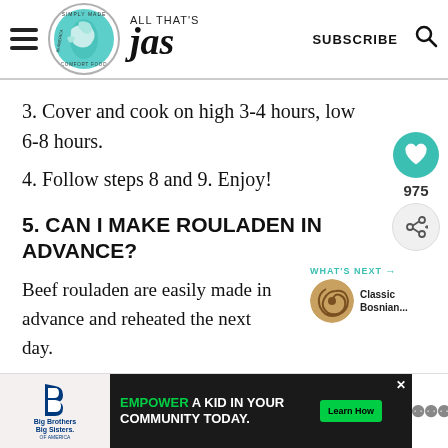ALL THAT'S Jas — SUBSCRIBE
3. Cover and cook on high 3-4 hours, low 6-8 hours.
4. Follow steps 8 and 9. Enjoy!
5. CAN I MAKE ROULADEN IN ADVANCE?
Beef rouladen are easily made in advance and reheated the next day.
[Figure (screenshot): Advertisement banner: Big Brothers Big Sisters logo on left; 'EMPOWER A KID IN YOUR COMMUNITY TODAY.' text center on dark background with green Learn How button; close X button.]